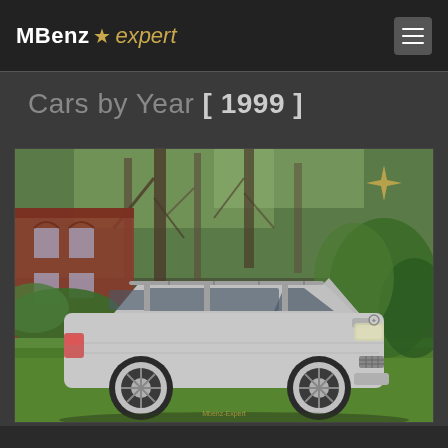MBenz ★ expert
Cars by Year [ 1999 ]
[Figure (photo): Silver Mercedes-Benz C-Class estate/wagon parked on green grass in front of trees and a red brick building. The car is a late 1990s W202 C-Class T-Model in silver, photographed from a front three-quarter angle. The MBenz Expert logo watermark appears in the upper right area of the image.]